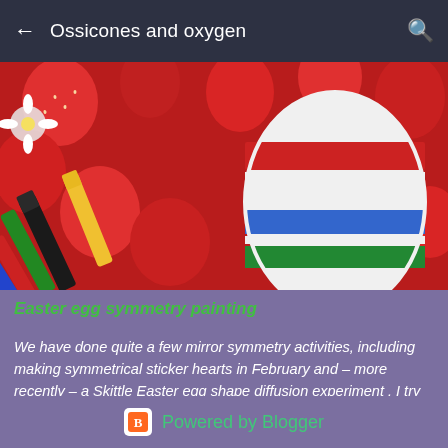Ossicones and oxygen
[Figure (photo): Photo of colorful markers/crayons (blue, green, black, yellow) and a painted Easter egg with red, blue, green and white stripes, surrounded by red strawberries]
Easter egg symmetry painting
We have done quite a few mirror symmetry activities, including making symmetrical sticker hearts in February and – more recently – a Skittle Easter egg shape diffusion experiment . I try to find opportunities to engage my son in mark making/drawing ...
Powered by Blogger